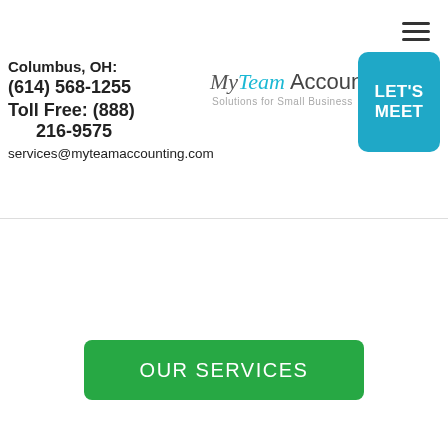[Figure (logo): MyTeam Accounting - Solutions for Small Business logo with hamburger menu icon and LET'S MEET button]
Columbus, OH:
(614) 568-1255
Toll Free: (888)
216-9575
services@myteamaccounting.com
OUR SERVICES